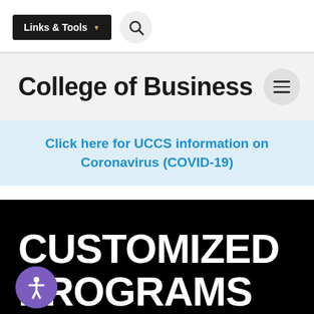Links & Tools | Search
College of Business
Click here for UCCS information on Coronavirus (COVID-19)
CUSTOMIZED PROGRAMS FOR ORGANIZATIONS